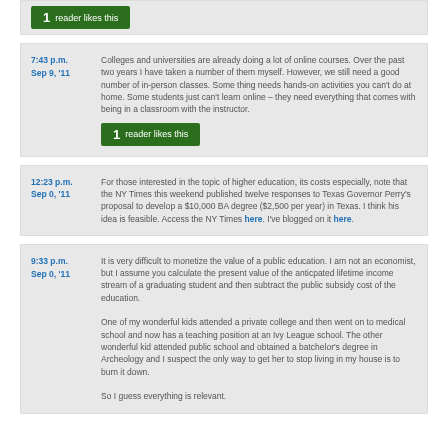[Figure (other): Green button showing '1 reader likes this']
7:43 p.m. Sep 9, '11 — Colleges and universities are already doing a lot of online courses. Over the past two years I have taken a number of them myself. However, we still need a good number of in-person classes. Some thing needs hands-on activities you can't do at home. Some students just can't learn online – they need everything that comes with being in a classroom with the instructor.
[Figure (other): Green button showing '1 reader likes this']
12:23 p.m. Sep 0, '11 — For those interested in the topic of higher education, its costs especially, note that the NY Times this weekend published twelve responses to Texas Governor Perry's proposal to develop a $10,000 BA degree ($2,500 per year) in Texas. I think his idea is feasible. Access the NY Times here. I've blogged on it here.
9:33 p.m. Sep 0, '11 — It is very difficult to monetize the value of a public education. I am not an economist, but I assume you calculate the present value of the anticpated lifetime income stream of a graduating student and then subtract the public subsidy cost of the education.

One of my wonderful kids attended a private college and then went on to medical school and now has a teaching position at an Ivy League school. The other wonderful kid attended public school and obtained a batchelor's degree in Archeology and I suspect the only way to get her to stop living in my house is to burn it down.

So I guess everything is relevant.